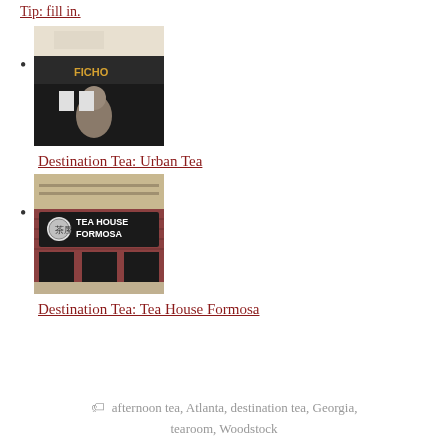Destination Tea: Urban Tea
[Figure (photo): Exterior photo of Urban Tea shop with storefront showing 'FICHO' signage and a figure/bear in front]
Destination Tea: Urban Tea
Destination Tea: Tea House Formosa
[Figure (photo): Exterior photo of Tea House Formosa with brick building showing Chinese characters and 'TEA HOUSE FORMOSA' sign]
Destination Tea: Tea House Formosa
afternoon tea, Atlanta, destination tea, Georgia, tearoom, Woodstock